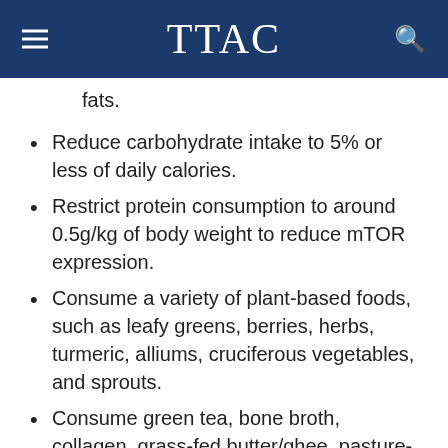TTAC
fats.
Reduce carbohydrate intake to 5% or less of daily calories.
Restrict protein consumption to around 0.5g/kg of body weight to reduce mTOR expression.
Consume a variety of plant-based foods, such as leafy greens, berries, herbs, turmeric, alliums, cruciferous vegetables, and sprouts.
Consume green tea, bone broth, collagen, grass-fed butter/ghee, pasture-raised eggs, organ meats, and omega-3 fatty acid